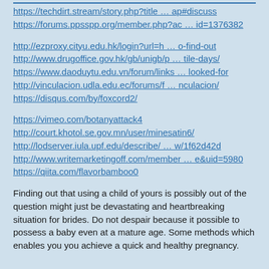https://techdirt.stream/story.php?title … ap#discuss
https://forums.ppsspp.org/member.php?ac … id=1376382
http://ezproxy.cityu.edu.hk/login?url=h … o-find-out
http://www.drugoffice.gov.hk/gb/unigb/p … tile-days/
https://www.daoduytu.edu.vn/forum/links … looked-for
http://vinculacion.udla.edu.ec/forums/f … nculacion/
https://disqus.com/by/foxcord2/
https://vimeo.com/botanyattack4
http://court.khotol.se.gov.mn/user/minesatin6/
http://lodserver.iula.upf.edu/describe/ … w/1f62d42d
http://www.writemarketingoff.com/member … e&uid=5980
https://qiita.com/flavorbamboo0
Finding out that using a child of yours is possibly out of the question might just be devastating and heartbreaking situation for brides. Do not despair because it possible to possess a baby even at a mature age. Some methods which enables you you achieve a quick and healthy pregnancy.